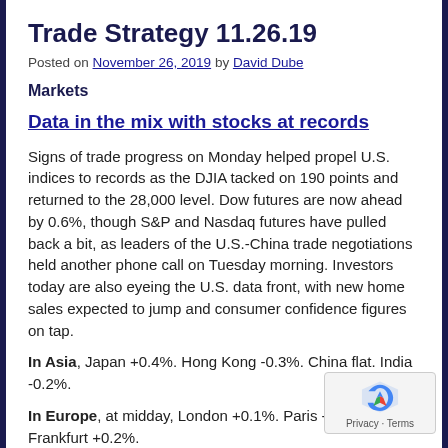Trade Strategy 11.26.19
Posted on November 26, 2019 by David Dube
Markets
Data in the mix with stocks at records
Signs of trade progress on Monday helped propel U.S. indices to records as the DJIA tacked on 190 points and returned to the 28,000 level. Dow futures are now ahead by 0.6%, though S&P and Nasdaq futures have pulled back a bit, as leaders of the U.S.-China trade negotiations held another phone call on Tuesday morning. Investors today are also eyeing the U.S. data front, with new home sales expected to jump and consumer confidence figures on tap.
In Asia, Japan +0.4%. Hong Kong -0.3%. China flat. India -0.2%.
In Europe, at midday, London +0.1%. Paris -0.1%. Frankfurt +0.2%.
Futures at 6:20, Dow +0.6%. S&P -0.1%. Nasdaq -0.1%. Crude +0.4% to $58.24. Gold +0.1% to $1457.70. Bitcoin +6.3% to $7177.